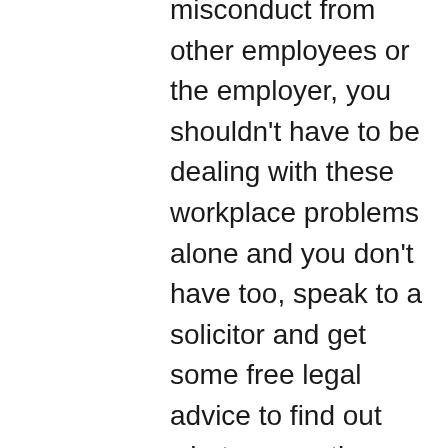misconduct from other employees or the employer, you shouldn't have to be dealing with these workplace problems alone and you don't have too, speak to a solicitor and get some free legal advice to find out what your options are.
Has your boss said no to flexible working hours or forces